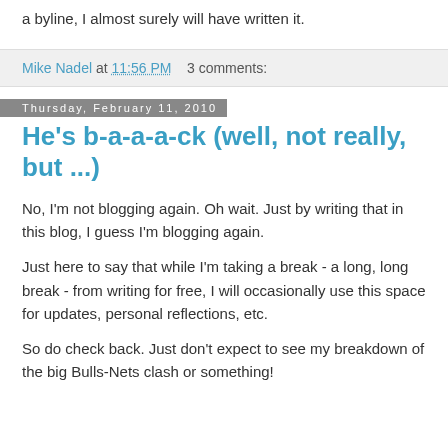a byline, I almost surely will have written it.
Mike Nadel at 11:56 PM   3 comments:
Thursday, February 11, 2010
He's b-a-a-a-ck (well, not really, but ...)
No, I'm not blogging again. Oh wait. Just by writing that in this blog, I guess I'm blogging again.
Just here to say that while I'm taking a break - a long, long break - from writing for free, I will occasionally use this space for updates, personal reflections, etc.
So do check back. Just don't expect to see my breakdown of the big Bulls-Nets clash or something!